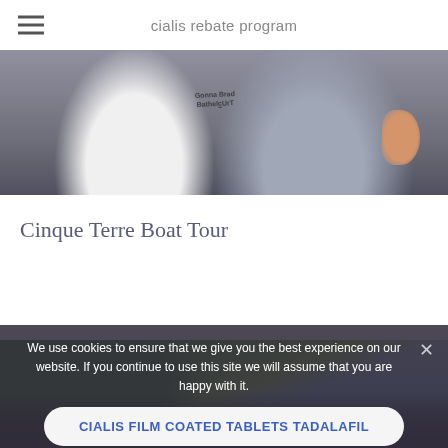cialis rebate program
[Figure (photo): Two people sitting on a sofa, one in a white shirt and one in a gray graphic t-shirt, with a hand visible on the right side]
Cinque Terre Boat Tour
[Figure (photo): Outdoor scene with green leafy trees against a blue sky, with people visible in the lower portion]
We use cookies to ensure that we give you the best experience on our website. If you continue to use this site we will assume that you are happy with it.
CIALIS FILM COATED TABLETS TADALAFIL